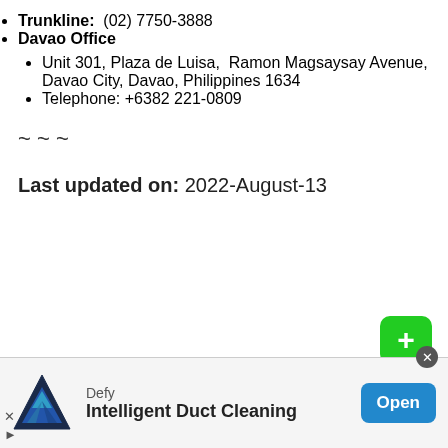Trunkline: (02) 7750-3888
Davao Office
Unit 301, Plaza de Luisa, Ramon Magsaysay Avenue, Davao City, Davao, Philippines 1634
Telephone: +6382 221-0809
~~~
Last updated on: 2022-August-13
[Figure (other): Green share button with plus sign and SHARE label]
[Figure (other): Advertisement banner: Defy - Intelligent Duct Cleaning with Open button]